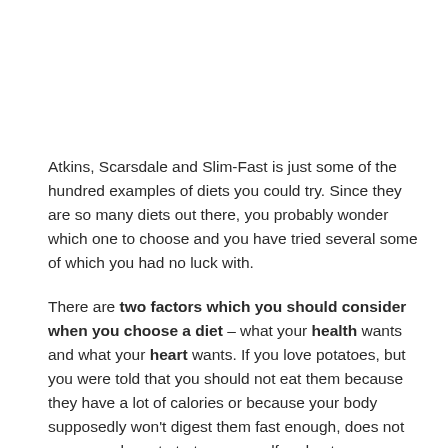Atkins, Scarsdale and Slim-Fast is just some of the hundred examples of diets you could try. Since they are so many diets out there, you probably wonder which one to choose and you have tried several some of which you had no luck with.
There are two factors which you should consider when you choose a diet – what your health wants and what your heart wants. If you love potatoes, but you were told that you should not eat them because they have a lot of calories or because your body supposedly won't digest them fast enough, does not mean you have to torture yourself and not